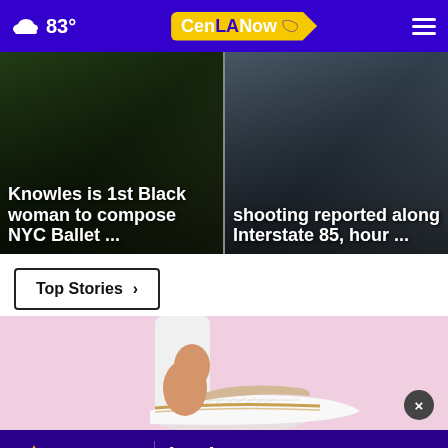83° CenLANow
Knowles is 1st Black woman to compose NYC Ballet ...
shooting reported along Interstate 85, hour ...
Top Stories >
[Figure (photo): Close-up of person wearing white pants and white mesh sneakers with gold accents on a pink background]
[Figure (logo): Atlas Home Service advertisement banner with phone number (318) 310-4189 and website www.atlashomeservice.com on purple background]